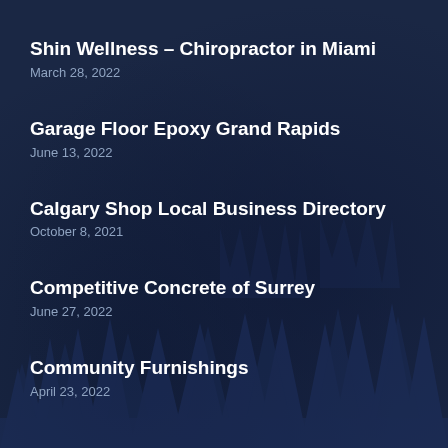Shin Wellness – Chiropractor in Miami
March 28, 2022
Garage Floor Epoxy Grand Rapids
June 13, 2022
Calgary Shop Local Business Directory
October 8, 2021
Competitive Concrete of Surrey
June 27, 2022
Community Furnishings
April 23, 2022